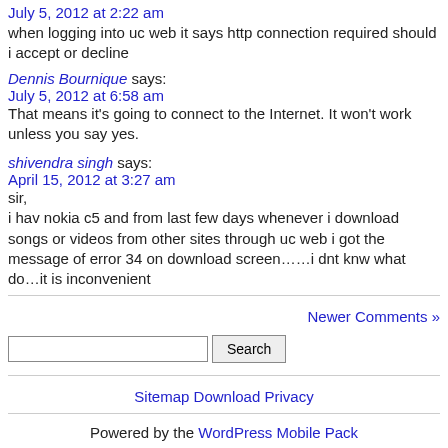July 5, 2012 at 2:22 am
when logging into uc web it says http connection required should i accept or decline
Dennis Bournique says:
July 5, 2012 at 6:58 am
That means it’s going to connect to the Internet. It won’t work unless you say yes.
shivendra singh says:
April 15, 2012 at 3:27 am
sir,
i hav nokia c5 and from last few days whenever i download songs or videos from other sites through uc web i got the message of error 34 on download screen……i dnt knw what do…it is inconvenient
Newer Comments »
Search
Sitemap Download Privacy
Powered by the WordPress Mobile Pack
Switch to our desktop site